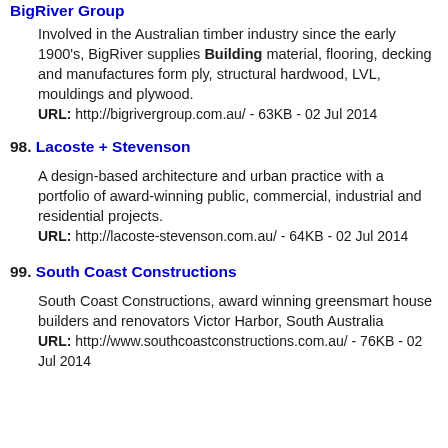BigRiver Group
Involved in the Australian timber industry since the early 1900's, BigRiver supplies Building material, flooring, decking and manufactures form ply, structural hardwood, LVL, mouldings and plywood.
URL: http://bigrivergroup.com.au/ - 63KB - 02 Jul 2014
98. Lacoste + Stevenson
A design-based architecture and urban practice with a portfolio of award-winning public, commercial, industrial and residential projects.
URL: http://lacoste-stevenson.com.au/ - 64KB - 02 Jul 2014
99. South Coast Constructions
South Coast Constructions, award winning greensmart house builders and renovators Victor Harbor, South Australia
URL: http://www.southcoastconstructions.com.au/ - 76KB - 02 Jul 2014